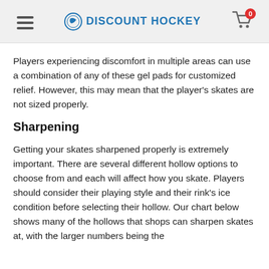DISCOUNT HOCKEY
Players experiencing discomfort in multiple areas can use a combination of any of these gel pads for customized relief. However, this may mean that the player's skates are not sized properly.
Sharpening
Getting your skates sharpened properly is extremely important. There are several different hollow options to choose from and each will affect how you skate. Players should consider their playing style and their rink's ice condition before selecting their hollow. Our chart below shows many of the hollows that shops can sharpen skates at, with the larger numbers being the